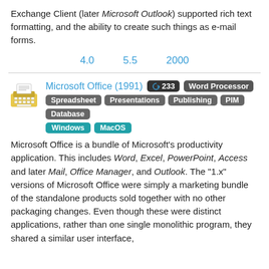Exchange Client (later Microsoft Outlook) supported rich text formatting, and the ability to create such things as e-mail forms.
4.0    5.5    2000
Microsoft Office (1991)  233  Word Processor  Spreadsheet  Presentations  Publishing  PIM  Database  Windows  MacOS
Microsoft Office is a bundle of Microsoft's productivity application. This includes Word, Excel, PowerPoint, Access and later Mail, Office Manager, and Outlook. The "1.x" versions of Microsoft Office were simply a marketing bundle of the standalone products sold together with no other packaging changes. Even though these were distinct applications, rather than one single monolithic program, they shared a similar user interface,